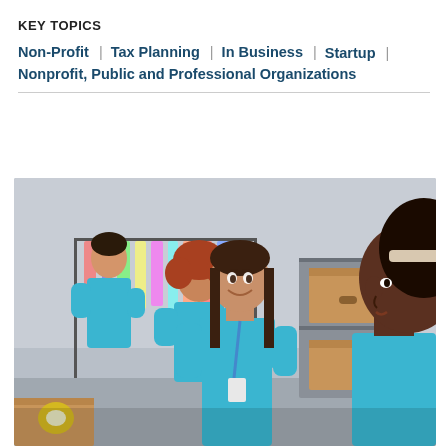KEY TOPICS
Non-Profit | Tax Planning | In Business | Startup |
Nonprofit, Public and Professional Organizations
[Figure (photo): Group of volunteers in blue t-shirts working at a donation/charity center, sorting clothes and boxes. Three people visible: two women facing each other in conversation, one with a lanyard, and others sorting items in background.]